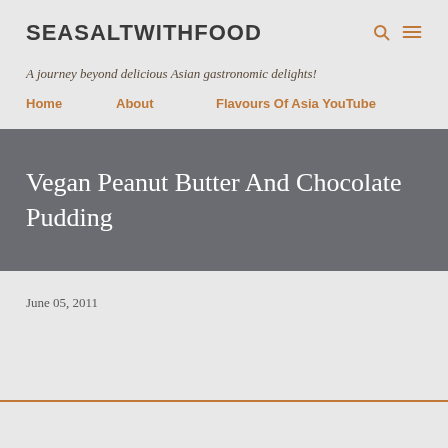SEASALTWITHFOOD
A journey beyond delicious Asian gastronomic delights!
Home   About   Flavours Of Asia YouTube
Vegan Peanut Butter And Chocolate Pudding
June 05, 2011